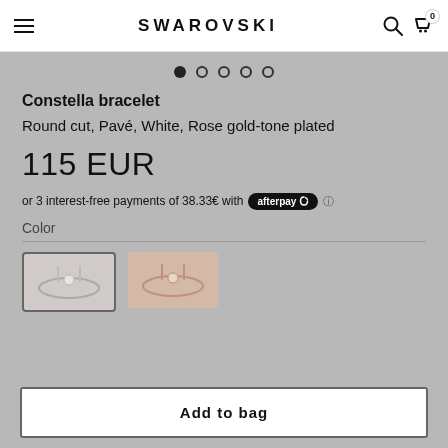SWAROVSKI
[Figure (screenshot): Pagination dots showing 5 slides, first active]
Constella bracelet
Round cut, Pavé, White, Rose gold-tone plated
115 EUR
or 3 interest-free payments of 38.33€ with afterpay ⓘ
Color
[Figure (photo): Two bracelet color swatch options shown as small product images]
Add to bag